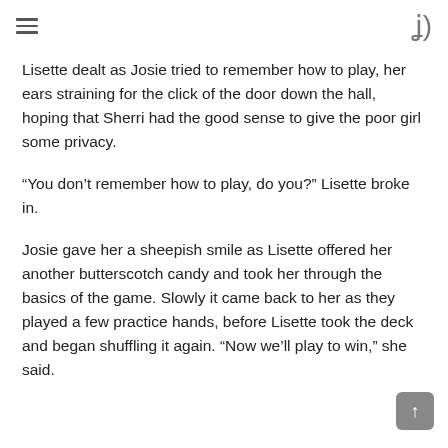≡ )
Lisette dealt as Josie tried to remember how to play, her ears straining for the click of the door down the hall, hoping that Sherri had the good sense to give the poor girl some privacy.
“You don’t remember how to play, do you?” Lisette broke in.
Josie gave her a sheepish smile as Lisette offered her another butterscotch candy and took her through the basics of the game. Slowly it came back to her as they played a few practice hands, before Lisette took the deck and began shuffling it again. “Now we’ll play to win,” she said.